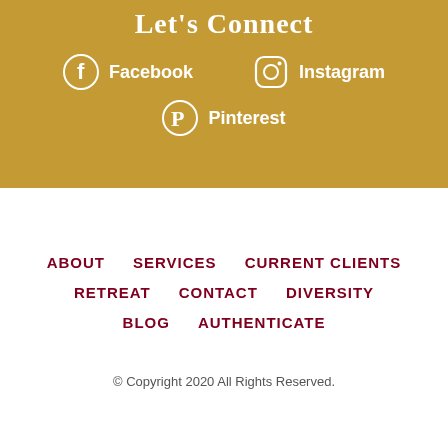Let's Connect
[Figure (infographic): Social media icons and labels for Facebook, Instagram, and Pinterest on a gold background]
ABOUT
SERVICES
CURRENT CLIENTS
RETREAT
CONTACT
DIVERSITY
BLOG
AUTHENTICATE
© Copyright 2020 All Rights Reserved.